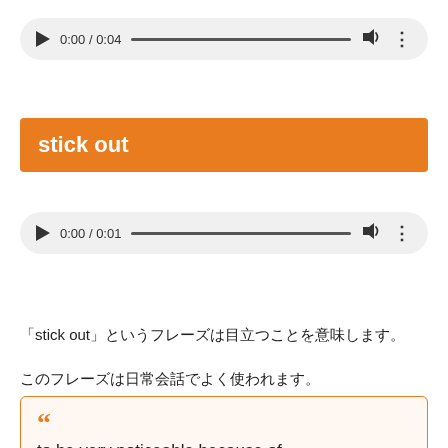[Figure (other): Audio player showing 0:00 / 0:04 with play button, progress bar, volume icon, and menu dots]
stick out
[Figure (other): Audio player showing 0:00 / 0:01 with play button, progress bar, volume icon, and menu dots]
「stick out」というフレーズは目立つことを意味します。
このフレーズは日常会話でよく使われます。
to be very noticeable because of